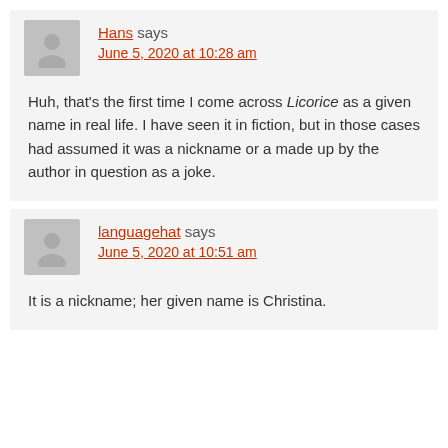Hans says
June 5, 2020 at 10:28 am
Huh, that's the first time I come across Licorice as a given name in real life. I have seen it in fiction, but in those cases had assumed it was a nickname or a made up by the author in question as a joke.
languagehat says
June 5, 2020 at 10:51 am
It is a nickname; her given name is Christina.